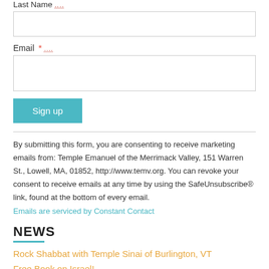Last Name ....
Email *
Sign up
By submitting this form, you are consenting to receive marketing emails from: Temple Emanuel of the Merrimack Valley, 151 Warren St., Lowell, MA, 01852, http://www.temv.org. You can revoke your consent to receive emails at any time by using the SafeUnsubscribe® link, found at the bottom of every email.
Emails are serviced by Constant Contact
NEWS
Rock Shabbat with Temple Sinai of Burlington, VT
Free Book on Israel!